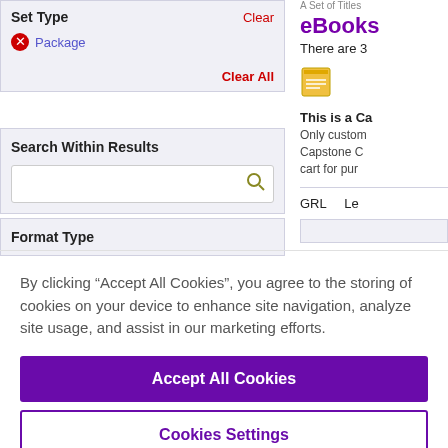Set Type
Clear
Package
Clear All
Search Within Results
Format Type
A Set of Titles
eBooks
There are 3
This is a Ca
Only custom Capstone C cart for pur
GRL   Le
By clicking “Accept All Cookies”, you agree to the storing of cookies on your device to enhance site navigation, analyze site usage, and assist in our marketing efforts.
Accept All Cookies
Cookies Settings